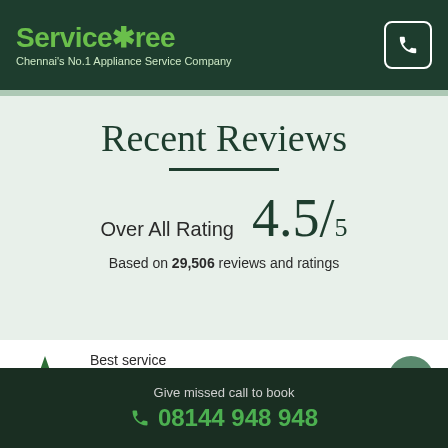ServiceTree — Chennai's No.1 Appliance Service Company
Recent Reviews
Over All Rating  4.5/5
Based on 29,506 reviews and ratings
Best service
Kumaran
Kovalam
Give missed call to book
08144 948 948